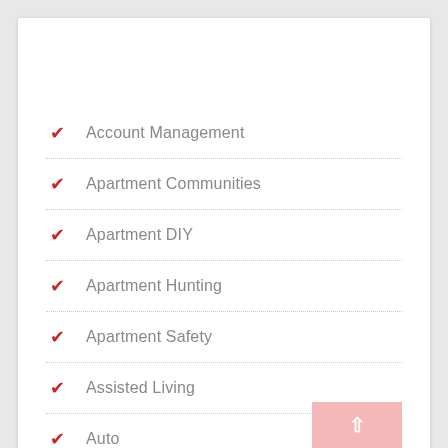Account Management
Apartment Communities
Apartment DIY
Apartment Hunting
Apartment Safety
Assisted Living
Auto